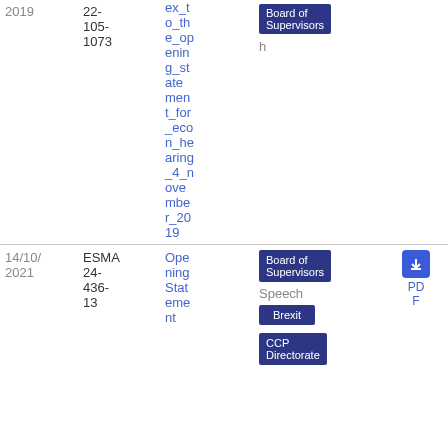| Date | Reference | Title | Tags | Type | Size |
| --- | --- | --- | --- | --- | --- |
| 2019 | 22-105-1073 | ex_to_the_opening_statement_for_econ_hearing_4_november_2019 | Board of Supervisors | PDF | 38
9.38 KB |
| 14/10/2021 | ESMA 24-436-13 | Opening Statement | Board of Supervisors, Brexit, CCP Directorate | PDF | 69
0.55 KB |